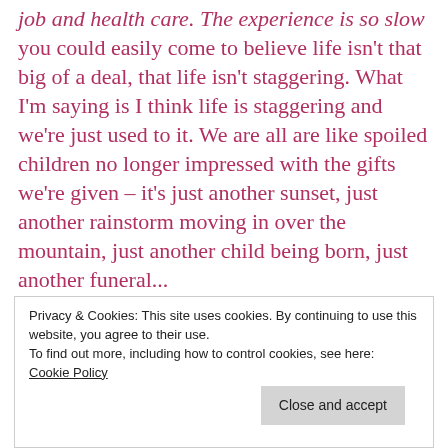job and health care. The experience is so slow you could easily come to believe life isn't that big of a deal, that life isn't staggering. What I'm saying is I think life is staggering and we're just used to it. We are all are like spoiled children no longer impressed with the gifts we're given – it's just another sunset, just another rainstorm moving in over the mountain, just another child being born, just another funeral...
[Figure (screenshot): Green banner with white bold text reading 'plugin']
Privacy & Cookies: This site uses cookies. By continuing to use this website, you agree to their use.
To find out more, including how to control cookies, see here: Cookie Policy
Close and accept